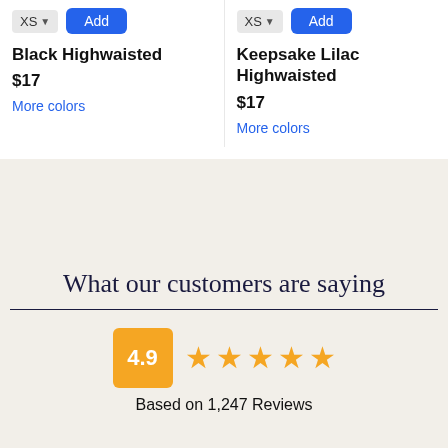Black Highwaisted
$17
More colors
Keepsake Lilac Highwaisted
$17
More colors
What our customers are saying
4.9
Based on 1,247 Reviews